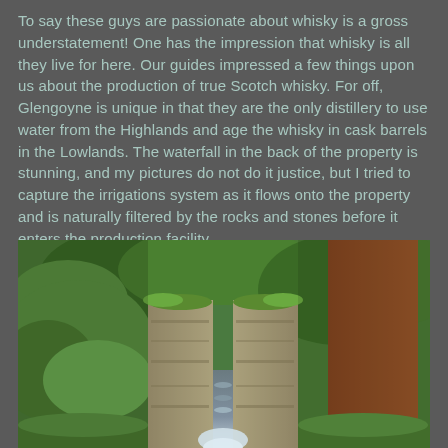To say these guys are passionate about whisky is a gross understatement! One has the impression that whisky is all they live for here. Our guides impressed a few things upon us about the production of true Scotch whisky. For off, Glengoyne is unique in that they are the only distillery to use water from the Highlands and age the whisky in cask barrels in the Lowlands. The waterfall in the back of the property is stunning, and my pictures do not do it justice, but I tried to capture the irrigations system as it flows onto the property and is naturally filtered by the rocks and stones before it enters the production facility.
[Figure (photo): A stone irrigation channel with water flowing through it, surrounded by green moss and foliage, at the Glengoyne distillery.]